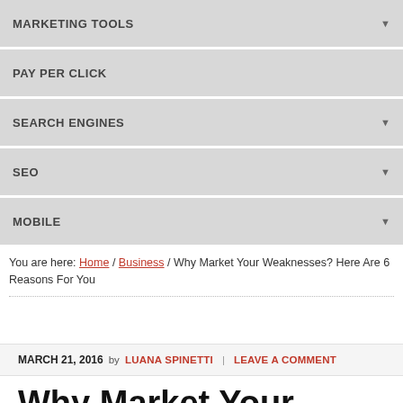MARKETING TOOLS
PAY PER CLICK
SEARCH ENGINES
SEO
MOBILE
You are here: Home / Business / Why Market Your Weaknesses? Here Are 6 Reasons For You
MARCH 21, 2016 by LUANA SPINETTI | LEAVE A COMMENT
Why Market Your Weaknesses? Here